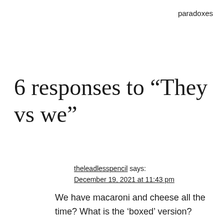paradoxes
6 responses to “They vs we”
theleadlesspencil says:
December 19, 2021 at 11:43 pm
We have macaroni and cheese all the time? What is the ‘boxed’ version?
Reply